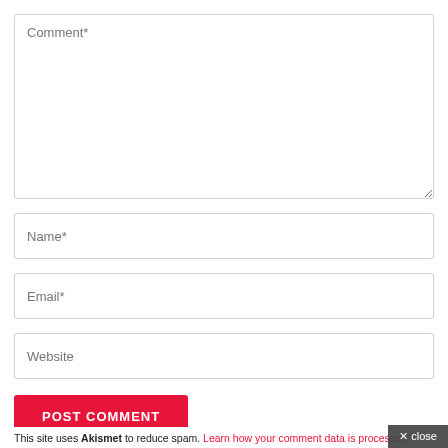[Figure (screenshot): A web comment form with a textarea labeled 'Comment*', input fields labeled 'Name*', 'Email*', 'Website', a red 'POST COMMENT' button, a footer note about Akismet spam reduction, and a dark 'close' button in the bottom-right corner.]
Comment*
Name*
Email*
Website
POST COMMENT
This site uses Akismet to reduce spam. Learn how your comment data is processed.